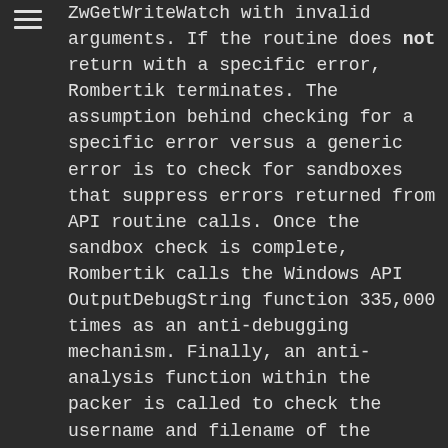ZwGetWriteWatch with invalid arguments. If the routine does not return with a specific error, Rombertik terminates. The assumption behind checking for a specific error versus a generic error is to check for sandboxes that suppress errors returned from API routine calls. Once the sandbox check is complete, Rombertik calls the Windows API OutputDebugString function 335,000 times as an anti-debugging mechanism. Finally, an anti-analysis function within the packer is called to check the username and filename of the executing process for strings like "malwar", "sampl", "viru", and "sandb". If the packer detects any of these substrings, it will stop unpacking and terminate. At this point, the initial anti-analysis checks are complete.

Once the packer has run through initial anti-analysis checks, it will check to see if it is executing from %AppData%\rsr\yfoye.exe. If the packer is not executing from there, it will proceed to install itself in